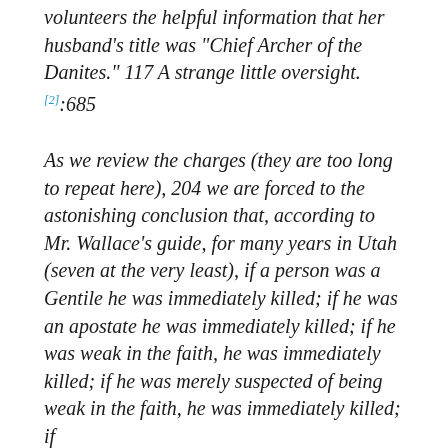volunteers the helpful information that her husband's title was "Chief Archer of the Danites." 117 A strange little oversight.[2]:685
As we review the charges (they are too long to repeat here), 204 we are forced to the astonishing conclusion that, according to Mr. Wallace's guide, for many years in Utah (seven at the very least), if a person was a Gentile he was immediately killed; if he was an apostate he was immediately killed; if he was weak in the faith, he was immediately killed; if he was merely suspected of being weak in the faith, he was immediately killed; if